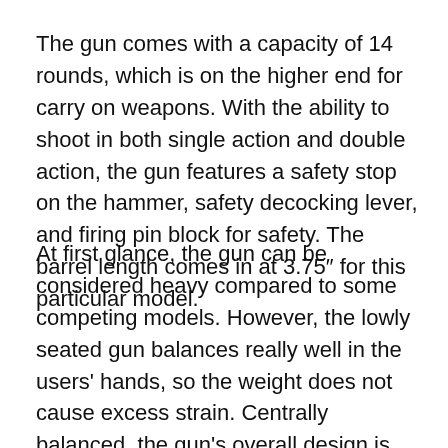The gun comes with a capacity of 14 rounds, which is on the higher end for carry on weapons. With the ability to shoot in both single action and double action, the gun features a safety stop on the hammer, safety decocking lever, and firing pin block for safety. The barrel length comes in at 3.75″ for this particular model.
At first glance, the gun can be considered heavy compared to some competing models. However, the lowly seated gun balances really well in the users' hands, so the weight does not cause excess strain. Centrally balanced, the gun's overall design is truly ergonomic, making it easy for both veteran and novice shooters to use.